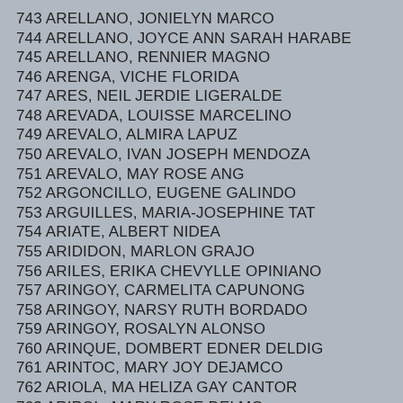743 ARELLANO, JONIELYN MARCO
744 ARELLANO, JOYCE ANN SARAH HARABE
745 ARELLANO, RENNIER MAGNO
746 ARENGA, VICHE FLORIDA
747 ARES, NEIL JERDIE LIGERALDE
748 AREVADA, LOUISSE MARCELINO
749 AREVALO, ALMIRA LAPUZ
750 AREVALO, IVAN JOSEPH MENDOZA
751 AREVALO, MAY ROSE ANG
752 ARGONCILLO, EUGENE GALINDO
753 ARGUILLES, MARIA-JOSEPHINE TAT
754 ARIATE, ALBERT NIDEA
755 ARIDIDON, MARLON GRAJO
756 ARILES, ERIKA CHEVYLLE OPINIANO
757 ARINGOY, CARMELITA CAPUNONG
758 ARINGOY, NARSY RUTH BORDADO
759 ARINGOY, ROSALYN ALONSO
760 ARINQUE, DOMBERT EDNER DELDIG
761 ARINTOC, MARY JOY DEJAMCO
762 ARIOLA, MA HELIZA GAY CANTOR
763 ARIPOL, MARY-ROSE DELMO
764 ARISCAYO, GERALDINE CUNANAN